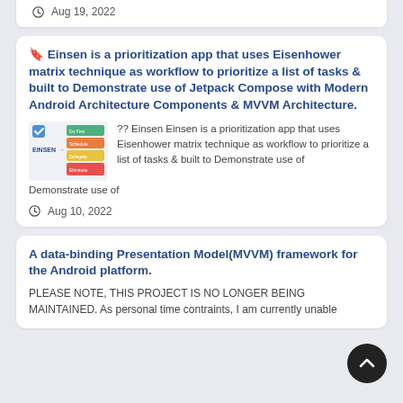Repository pattern.
Aug 19, 2022
🔖 Einsen is a prioritization app that uses Eisenhower matrix technique as workflow to prioritize a list of tasks & built to Demonstrate use of Jetpack Compose with Modern Android Architecture Components & MVVM Architecture.
[Figure (screenshot): Screenshot of the Einsen app showing a checklist/matrix UI with colorful rows and the EINSEN logo]
?? Einsen Einsen is a prioritization app that uses Eisenhower matrix technique as workflow to prioritize a list of tasks & built to Demonstrate use of
Aug 10, 2022
A data-binding Presentation Model(MVVM) framework for the Android platform.
PLEASE NOTE, THIS PROJECT IS NO LONGER BEING MAINTAINED. As personal time contraints, I am currently unable